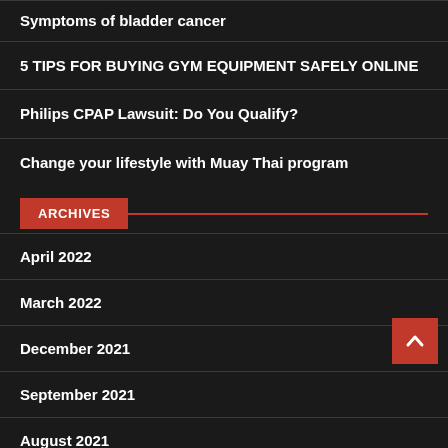Symptoms of bladder cancer
5 TIPS FOR BUYING GYM EQUIPMENT SAFELY ONLINE
Philips CPAP Lawsuit: Do You Qualify?
Change your lifestyle with Muay Thai program
ARCHIVES
April 2022
March 2022
December 2021
September 2021
August 2021
June 2021
May 2021